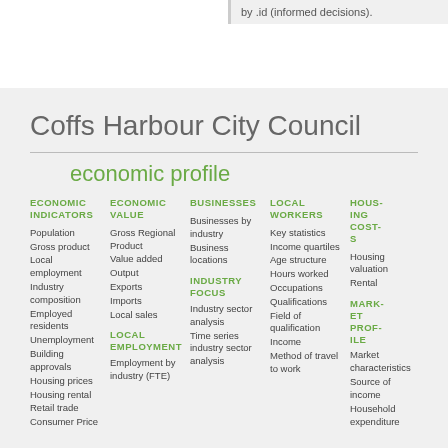by .id (informed decisions).
Coffs Harbour City Council
economic profile
ECONOMIC INDICATORS
Population
Gross product
Local employment
Industry composition
Employed residents
Unemployment
Building approvals
Housing prices
Housing rental
Retail trade
Consumer Price
ECONOMIC VALUE
Gross Regional Product
Value added
Output
Exports
Imports
Local sales

LOCAL EMPLOYMENT
Employment by industry (FTE)
BUSINESSES
Businesses by industry
Business locations

INDUSTRY FOCUS
Industry sector analysis
Time series industry sector analysis
LOCAL WORKERS
Key statistics
Income quartiles
Age structure
Hours worked
Occupations
Qualifications
Field of qualification
Income
Method of travel to work
HOUSING COSTS
Housing valuation
Rental

MARKET PROFILE
Market characteristics
Source of income
Household expenditure